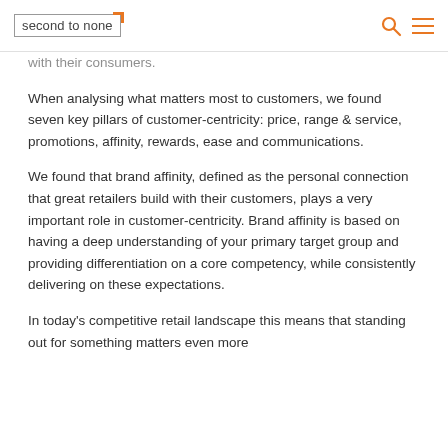second to none
with their consumers.
When analysing what matters most to customers, we found seven key pillars of customer-centricity: price, range & service, promotions, affinity, rewards, ease and communications.
We found that brand affinity, defined as the personal connection that great retailers build with their customers, plays a very important role in customer-centricity. Brand affinity is based on having a deep understanding of your primary target group and providing differentiation on a core competency, while consistently delivering on these expectations.
In today's competitive retail landscape this means that standing out for something matters even more